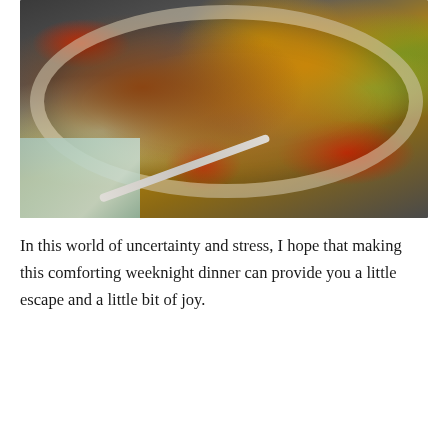[Figure (photo): Overhead close-up photo of a pan with roasted chicken thighs, cherry tomatoes, green olives, herbs (thyme, mint, rosemary), and a light green cloth napkin with a spoon handle visible at the bottom left.]
In this world of uncertainty and stress, I hope that making this comforting weeknight dinner can provide you a little escape and a little bit of joy.